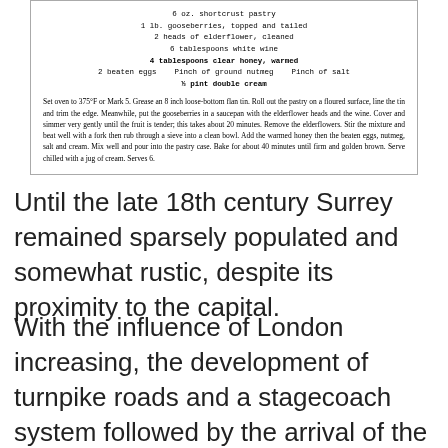6 oz. shortcrust pastry
1 lb. gooseberries, topped and tailed
2 heads of elderflower, cleaned
6 tablespoons white wine
4 tablespoons clear honey, warmed
2 beaten eggs   Pinch of ground nutmeg   Pinch of salt
½ pint double cream
Set oven to 375°F or Mark 5. Grease an 8 inch loose-bottom flan tin. Roll out the pastry on a floured surface, line the tin and trim the edge. Meanwhile, put the gooseberries in a saucepan with the elderflower heads and the wine. Cover and simmer very gently until the fruit is tender; this takes about 20 minutes. Remove the elderflowers. Stir the mixture and beat well with a fork then rub through a sieve into a clean bowl. Add the warmed honey then the beaten eggs, nutmeg, salt and cream. Mix well and pour into the pastry case. Bake for about 40 minutes until firm and golden brown. Serve chilled with a jug of cream. Serves 6.
Until the late 18th century Surrey remained sparsely populated and somewhat rustic, despite its proximity to the capital.
With the influence of London increasing, the development of turnpike roads and a stagecoach system followed by the arrival of the railways, beginning in the late 1830s enabled more prosperous London residents and workers to travel daily to homes across Surrey. The phenomenon of commuting brought explosive growth to Surrey's